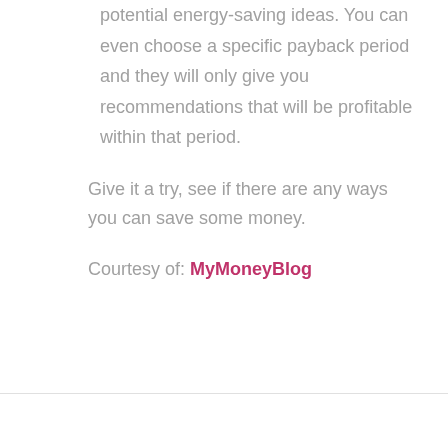potential energy-saving ideas. You can even choose a specific payback period and they will only give you recommendations that will be profitable within that period.
Give it a try, see if there are any ways you can save some money.
Courtesy of: MyMoneyBlog